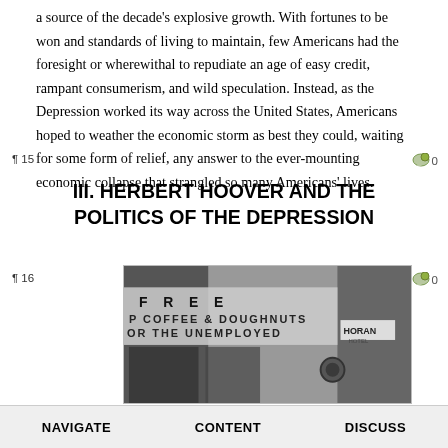a source of the decade's explosive growth. With fortunes to be won and standards of living to maintain, few Americans had the foresight or wherewithal to repudiate an age of easy credit, rampant consumerism, and wild speculation. Instead, as the Depression worked its way across the United States, Americans hoped to weather the economic storm as best they could, waiting for some form of relief, any answer to the ever-mounting economic collapse that strangled so many Americans' lives.
III. HERBERT HOOVER AND THE POLITICS OF THE DEPRESSION
[Figure (photo): Black and white photograph of a storefront with a sign reading 'FREE COFFEE & DOUGHNUTS FOR THE UNEMPLOYED' and a 'HORAN' sign visible on the right side of the image.]
NAVIGATE   CONTENT   DISCUSS